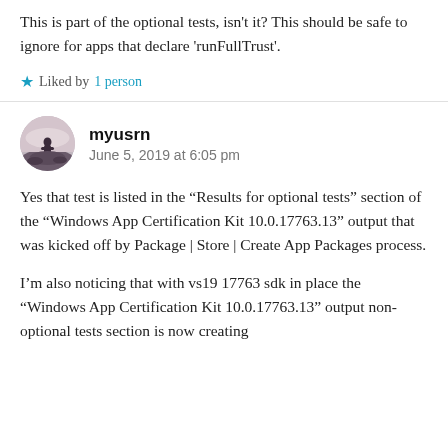This is part of the optional tests, isn't it? This should be safe to ignore for apps that declare 'runFullTrust'.
Liked by 1 person
myusrn
June 5, 2019 at 6:05 pm
Yes that test is listed in the “Results for optional tests” section of the “Windows App Certification Kit 10.0.17763.13” output that was kicked off by Package | Store | Create App Packages process.
I’m also noticing that with vs19 17763 sdk in place the “Windows App Certification Kit 10.0.17763.13” output non-optional tests section is now creating